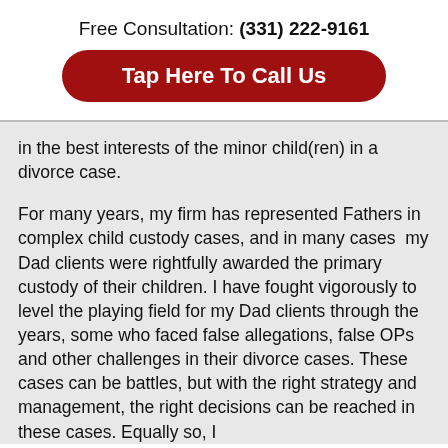Free Consultation: (331) 222-9161
[Figure (other): Red rounded button with white bold text: Tap Here To Call Us]
in the best interests of the minor child(ren) in a divorce case.
For many years, my firm has represented Fathers in complex child custody cases, and in many cases my Dad clients were rightfully awarded the primary custody of their children. I have fought vigorously to level the playing field for my Dad clients through the years, some who faced false allegations, false OPs and other challenges in their divorce cases. These cases can be battles, but with the right strategy and management, the right decisions can be reached in these cases. Equally so, I